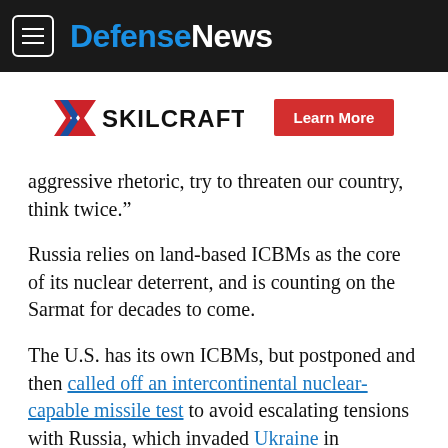DefenseNews
[Figure (logo): SKILCRAFT logo with red/blue chevron mark and a red 'Learn More' button]
aggressive rhetoric, try to threaten our country, think twice.”
Russia relies on land-based ICBMs as the core of its nuclear deterrent, and is counting on the Sarmat for decades to come.
The U.S. has its own ICBMs, but postponed and then called off an intercontinental nuclear-capable missile test to avoid escalating tensions with Russia, which invaded Ukraine in